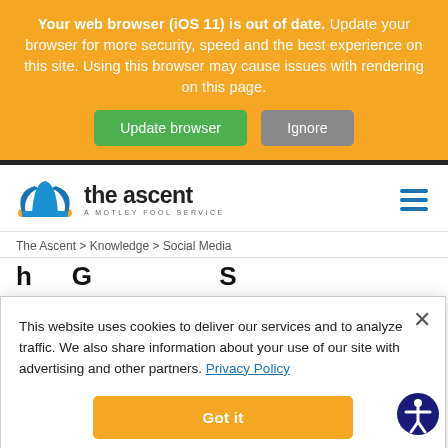Your web browser (iOS 11) is out of date. Update your browser for more security, speed and the best experience on this site. Using this browser may cause issues with rendering on this page.
Update browser | Ignore
[Figure (logo): The Ascent logo with jester hat icon and tagline 'A Motley Fool Service']
The Ascent > Knowledge > Social Media
This website uses cookies to deliver our services and to analyze traffic. We also share information about your use of our site with advertising and other partners. Privacy Policy
Got it
Cookie Settings